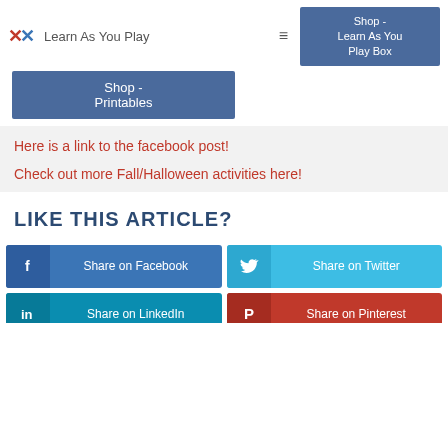Learn As You Play
Shop - Printables
Shop - Learn As You Play Box
Here is a link to the facebook post!
Check out more Fall/Halloween activities here!
LIKE THIS ARTICLE?
Share on Facebook
Share on Twitter
Share on LinkedIn
Share on Pinterest